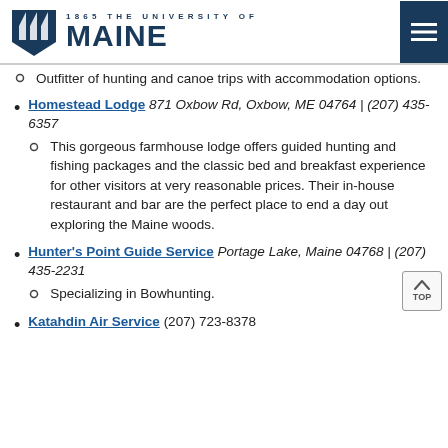1865 THE UNIVERSITY OF MAINE
Outfitter of hunting and canoe trips with accommodation options.
Homestead Lodge 871 Oxbow Rd, Oxbow, ME 04764 | (207) 435-6357
This gorgeous farmhouse lodge offers guided hunting and fishing packages and the classic bed and breakfast experience for other visitors at very reasonable prices. Their in-house restaurant and bar are the perfect place to end a day out exploring the Maine woods.
Hunter's Point Guide Service Portage Lake, Maine 04768 | (207) 435-2231
Specializing in Bowhunting.
Katahdin Air Service (207) 723-8378